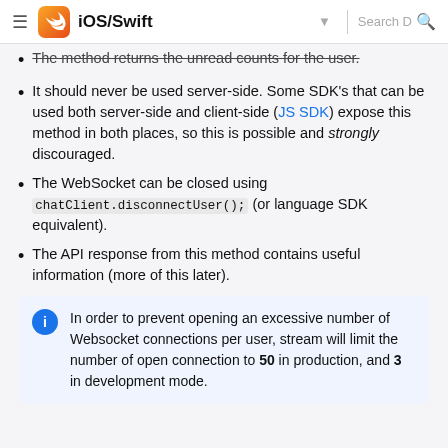iOS/Swift
The method returns the unread counts for the user.
It should never be used server-side. Some SDK's that can be used both server-side and client-side (JS SDK) expose this method in both places, so this is possible and strongly discouraged.
The WebSocket can be closed using chatClient.disconnectUser(); (or language SDK equivalent).
The API response from this method contains useful information (more of this later).
In order to prevent opening an excessive number of Websocket connections per user, stream will limit the number of open connection to 50 in production, and 3 in development mode.